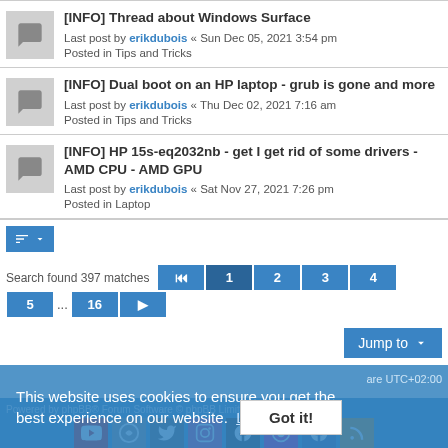[INFO] Thread about Windows Surface
Last post by erikdubois « Sun Dec 05, 2021 3:54 pm
Posted in Tips and Tricks
[INFO] Dual boot on an HP laptop - grub is gone and more
Last post by erikdubois « Thu Dec 02, 2021 7:16 am
Posted in Tips and Tricks
[INFO] HP 15s-eq2032nb - get I get rid of some drivers - AMD CPU - AMD GPU
Last post by erikdubois « Sat Nov 27, 2021 7:26 pm
Posted in Laptop
Search found 397 matches
This website uses cookies to ensure you get the best experience on our website. Learn more
Powered by phpBB® Forum Software © phpBB Limited
Style proflat by © Mazeltof 2017
Privacy | Terms